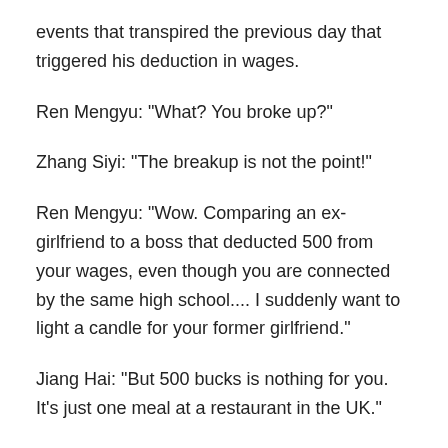events that transpired the previous day that triggered his deduction in wages.
Ren Mengyu: "What? You broke up?"
Zhang Siyi: "The breakup is not the point!"
Ren Mengyu: "Wow. Comparing an ex-girlfriend to a boss that deducted 500 from your wages, even though you are connected by the same high school.... I suddenly want to light a candle for your former girlfriend."
Jiang Hai: "But 500 bucks is nothing for you. It's just one meal at a restaurant in the UK."
Zhang Siyi: "I thought he was joking at the time."